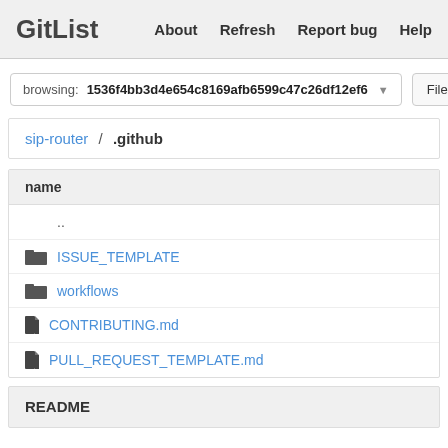GitList   About   Refresh   Report bug   Help
browsing: 1536f4bb3d4e654c8169afb6599c47c26df12ef6   Files
sip-router / .github
| name |
| --- |
|  .. |
| ISSUE_TEMPLATE |
| workflows |
| CONTRIBUTING.md |
| PULL_REQUEST_TEMPLATE.md |
README